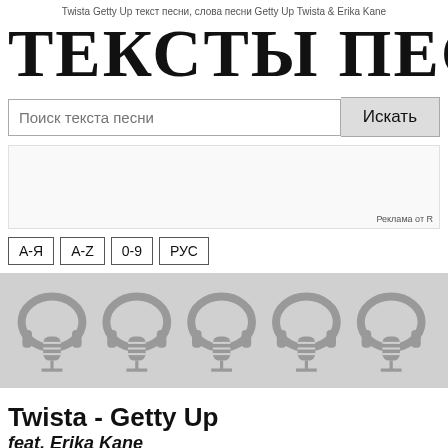Twista Getty Up текст песни, слова песни Getty Up Twista & Erika Kane
ТЕКСТЫ ПЕСЕН
[Figure (screenshot): Search bar with placeholder 'Поиск текста песни' and button 'Искать']
[Figure (other): Advertisement placeholder box with 'Реклама от R' label]
[Figure (other): Navigation buttons: А-Я, A-Z, 0-9, РУС]
[Figure (illustration): Grey banner with repeating headphones and microphone icons]
Twista - Getty Up
feat. Erika Kane